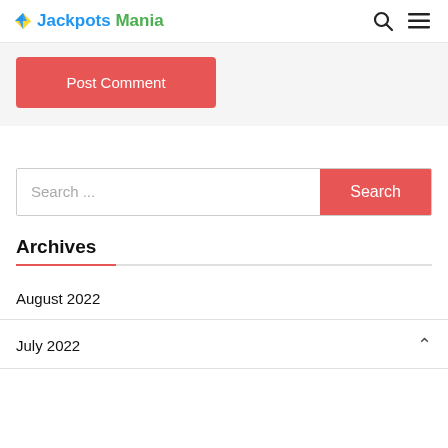Jackpots Mania
Post Comment
Search ...
Archives
August 2022
July 2022